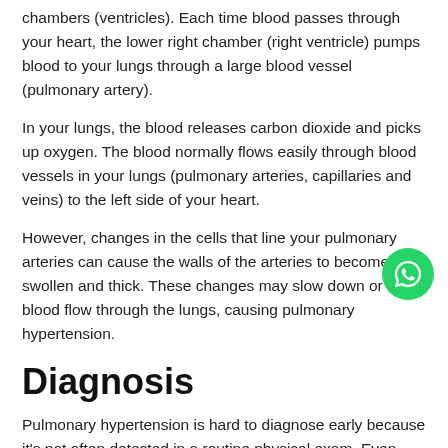chambers (ventricles). Each time blood passes through your heart, the lower right chamber (right ventricle) pumps blood to your lungs through a large blood vessel (pulmonary artery).
In your lungs, the blood releases carbon dioxide and picks up oxygen. The blood normally flows easily through blood vessels in your lungs (pulmonary arteries, capillaries and veins) to the left side of your heart.
However, changes in the cells that line your pulmonary arteries can cause the walls of the arteries to become stiff, swollen and thick. These changes may slow down or block blood flow through the lungs, causing pulmonary hypertension.
Diagnosis
Pulmonary hypertension is hard to diagnose early because it's not often detected in a routine physical exam. Even